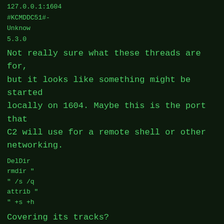127.0.0.1:1604
#KCMDDC51#-
Unknow
5.3.0
Not really sure what these threads are for, but it looks like something might be started locally on 1604. Maybe this is the port that C2 will use for a remote shell or other networking.
DelDir
rmdir "
" /s /q
attrib "
" +s +h
Covering its tracks?
NETDRV